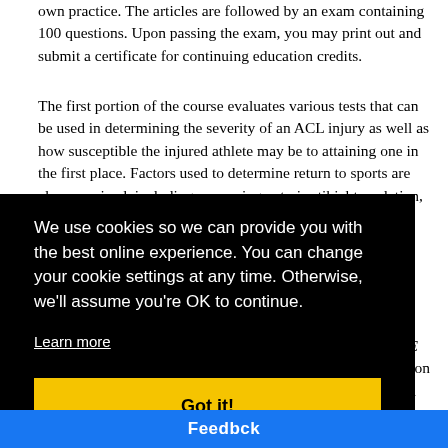own practice. The articles are followed by an exam containing 100 questions. Upon passing the exam, you may print out and submit a certificate for continuing education credits.
The first portion of the course evaluates various tests that can be used in determining the severity of an ACL injury as well as how susceptible the injured athlete may be to attaining one in the first place. Factors used to determine return to sports are also examined, including measuring anterior tibial translation, examining lower-extremity functional deficits,
[Figure (other): Cookie consent banner overlay with black background. Text reads: 'We use cookies so we can provide you with the best online experience. You can change your cookie settings at any time. Otherwise, we'll assume you're OK to continue.' with a 'Learn more' underlined link and a yellow 'Got it!' button.]
outcomes. Certified [Facebook button] pleting this course